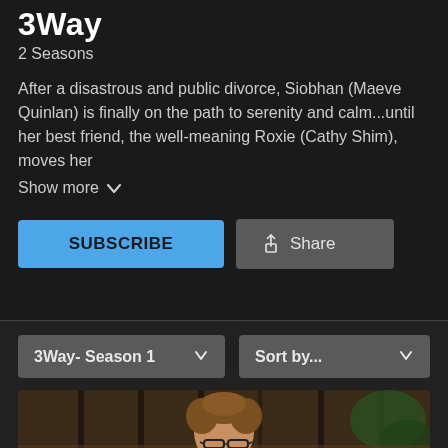3Way
2 Seasons
After a disastrous and public divorce, Siobhan (Maeve Quinlan) is finally on the path to serenity and calm...until her best friend, the well-meaning Roxie (Cathy Shim), moves her
Show more
[Figure (screenshot): SUBSCRIBE button (blue) and Share button (gray) for a streaming show page]
[Figure (screenshot): Dropdown selectors: '3Way- Season 1' and 'Sort by...' with chevron arrows]
[Figure (photo): Thumbnail image showing a person with glasses and curly hair against an outdoor background]